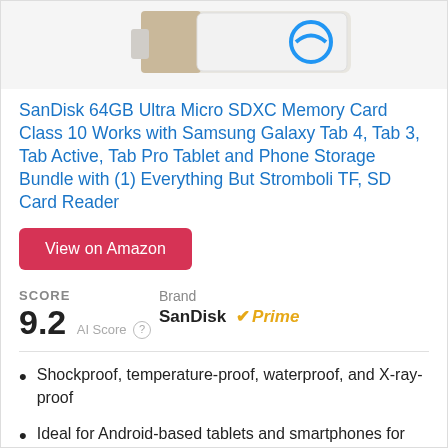[Figure (photo): Partial product image of SanDisk USB/SD card reader device on white/light gray background]
SanDisk 64GB Ultra Micro SDXC Memory Card Class 10 Works with Samsung Galaxy Tab 4, Tab 3, Tab Active, Tab Pro Tablet and Phone Storage Bundle with (1) Everything But Stromboli TF, SD Card Reader
View on Amazon
SCORE
9.2  AI Score
Brand
SanDisk  Prime
Shockproof, temperature-proof, waterproof, and X-ray-proof
Ideal for Android-based tablets and smartphones for more expandable